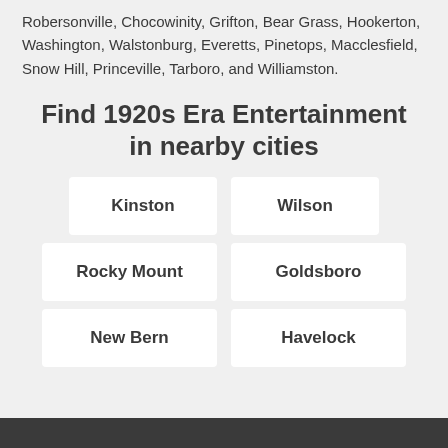Robersonville, Chocowinity, Grifton, Bear Grass, Hookerton, Washington, Walstonburg, Everetts, Pinetops, Macclesfield, Snow Hill, Princeville, Tarboro, and Williamston.
Find 1920s Era Entertainment in nearby cities
Kinston
Wilson
Rocky Mount
Goldsboro
New Bern
Havelock